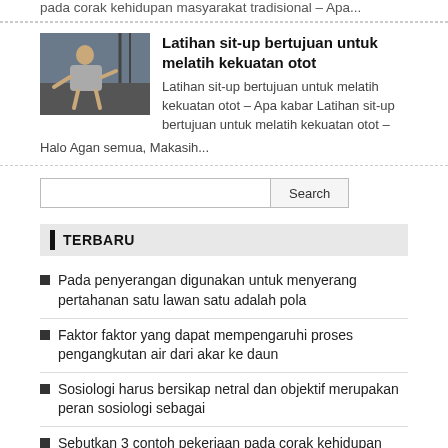pada corak kehidupan masyarakat tradisional – Apa...
[Figure (photo): Man exercising, sit-up pose in gym setting]
Latihan sit-up bertujuan untuk melatih kekuatan otot
Latihan sit-up bertujuan untuk melatih kekuatan otot – Apa kabar Latihan sit-up bertujuan untuk melatih kekuatan otot – Halo Agan semua, Makasih...
Search
TERBARU
Pada penyerangan digunakan untuk menyerang pertahanan satu lawan satu adalah pola
Faktor faktor yang dapat mempengaruhi proses pengangkutan air dari akar ke daun
Sosiologi harus bersikap netral dan objektif merupakan peran sosiologi sebagai
Sebutkan 3 contoh pekerjaan pada corak kehidupan masyarakat tradisional
Latihan sit-up bertujuan untuk melatih kekuatan otot
Tanaman buah yang tidak butuh sinar matahari